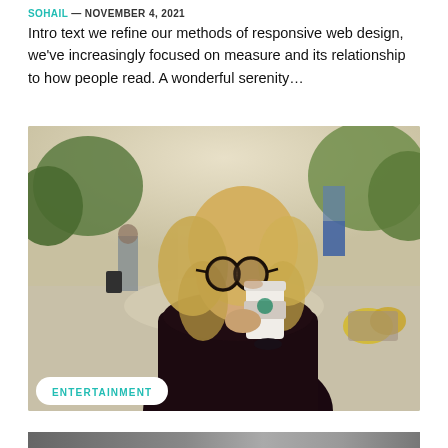SOHAIL — NOVEMBER 4, 2021
Intro text we refine our methods of responsive web design, we've increasingly focused on measure and its relationship to how people read. A wonderful serenity…
[Figure (photo): Woman with blonde hair and glasses drinking from a white coffee cup outdoors in a park setting, wearing a dark maroon top. Background shows blurred trees, people, and outdoor decorations.]
ENTERTAINMENT